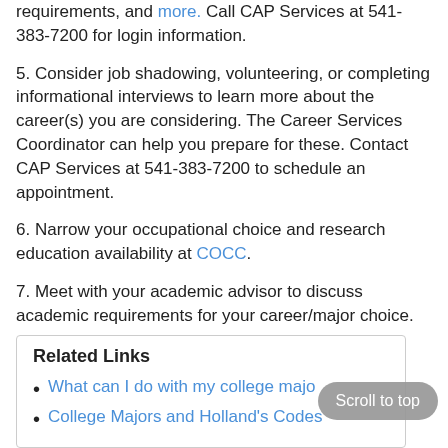requirements, and more. Call CAP Services at 541-383-7200 for login information.
5. Consider job shadowing, volunteering, or completing informational interviews to learn more about the career(s) you are considering. The Career Services Coordinator can help you prepare for these. Contact CAP Services at 541-383-7200 to schedule an appointment.
6. Narrow your occupational choice and research education availability at COCC.
7. Meet with your academic advisor to discuss academic requirements for your career/major choice.
Related Links
What can I do with my college major
College Majors and Holland's Codes